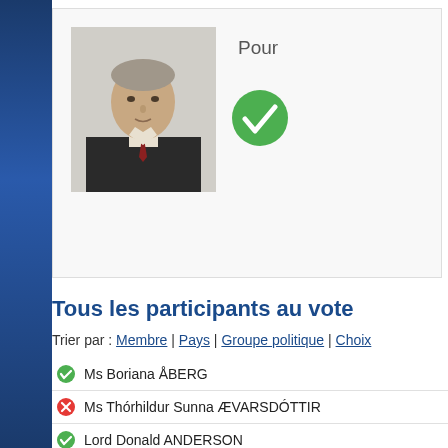[Figure (photo): Headshot photo of a man in a dark suit with a tie, gray hair, against a light background]
Pour
[Figure (other): Green circle with white checkmark icon (vote: Pour)]
Tous les participants au vote
Trier par : Membre | Pays | Groupe politique | Choix
Ms Boriana ÅBERG
Ms Thórhildur Sunna ÆVARSDÓTTIR
Lord Donald ANDERSON
Mr Volodymyr ARIEV
M. José BADIA